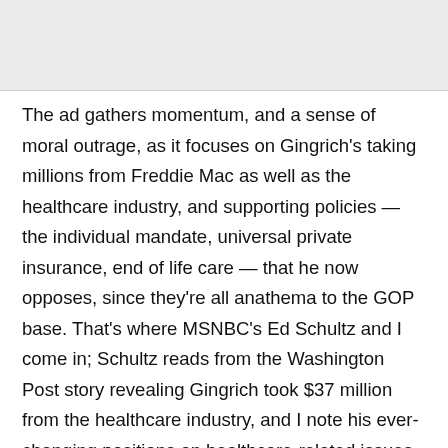The ad gathers momentum, and a sense of moral outrage, as it focuses on Gingrich's taking millions from Freddie Mac as well as the healthcare industry, and supporting policies — the individual mandate, universal private insurance, end of life care — that he now opposes, since they're all anathema to the GOP base. That's where MSNBC's Ed Schultz and I come in; Schultz reads from the Washington Post story revealing Gingrich took $37 million from the healthcare industry, and I note his ever-changing positions on healthcare-related issues. "He's flipped and flopped